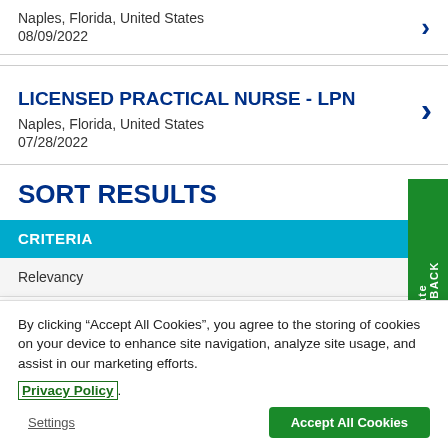Naples, Florida, United States
08/09/2022
LICENSED PRACTICAL NURSE - LPN
Naples, Florida, United States
07/28/2022
SORT RESULTS
CRITERIA
Relevancy
By clicking “Accept All Cookies”, you agree to the storing of cookies on your device to enhance site navigation, analyze site usage, and assist in our marketing efforts. Privacy Policy
Settings
Accept All Cookies